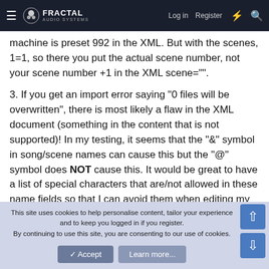Fractal Audio Systems — Log in | Register
machine is preset 992 in the XML. But with the scenes, 1=1, so there you put the actual scene number, not your scene number +1 in the XML scene="".
3. If you get an import error saying "0 files will be overwritten", there is most likely a flaw in the XML document (something in the content that is not supported)! In my testing, it seems that the "&" symbol in song/scene names can cause this but the "@" symbol does NOT cause this. It would be great to have a list of special characters that are/not allowed in these name fields so that I can avoid them when editing my XML outside of the system.
4. It seems that the XML document will allow more than 10
This site uses cookies to help personalise content, tailor your experience and to keep you logged in if you register.
By continuing to use this site, you are consenting to our use of cookies.